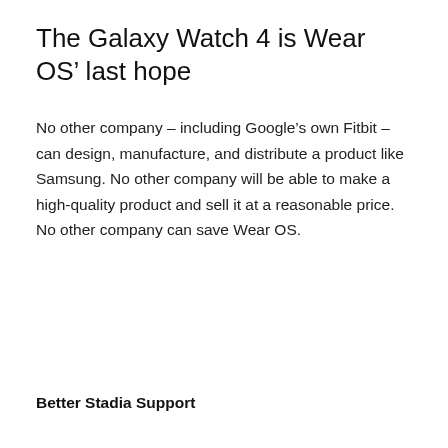The Galaxy Watch 4 is Wear OS’ last hope
No other company – including Google’s own Fitbit – can design, manufacture, and distribute a product like Samsung. No other company will be able to make a high-quality product and sell it at a reasonable price. No other company can save Wear OS.
Better Stadia Support